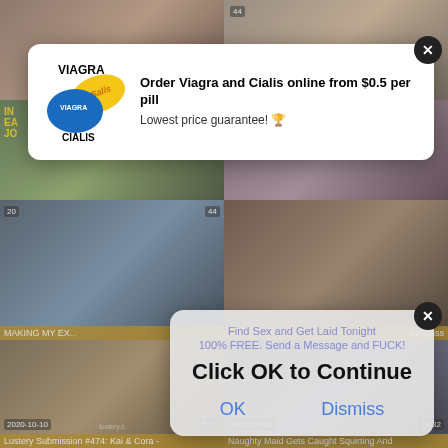[Figure (screenshot): Adult video website screenshot with multiple video thumbnails, overlaid by two popup advertisements: a Viagra/Cialis pill advertisement and a 'Click OK to Continue' dialog for adult content.]
Order Viagra and Cialis online from $0.5 per pill
Lowest price guarantee! 🏆
Find Sex and Get Laid Tonight
100% FREE. Send a Message and FUCK!
Click OK to Continue
OK
Dismiss
MAKING MY EX...
...kers ass
Lustery Submission #474: Kai & Cora -
Naughty Maid Gets Caught Squirting And
2020-10-10
2020-10-10
5:17
19:32
lustery.c